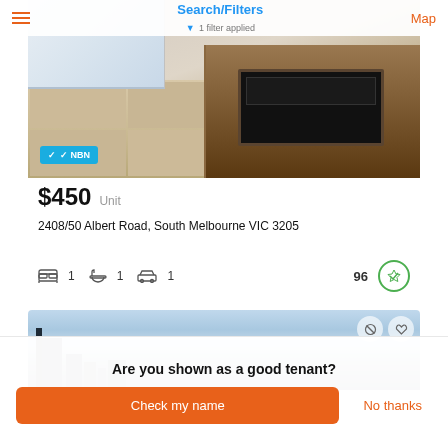Search/Filters | 1 filter applied | Map
[Figure (photo): Kitchen interior with wooden cabinetry and oven, NBN badge overlay]
$450  Unit
2408/50 Albert Road, South Melbourne VIC 3205
1 bedroom  1 bathroom  1 parking  96
[Figure (photo): City skyline with buildings against blue sky]
Are you shown as a good tenant?
Check my name
No thanks